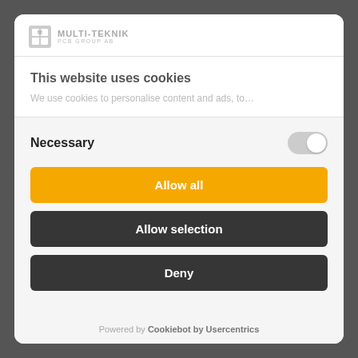[Figure (logo): Multi-Teknik PCB Group AB logo with icon and text]
This website uses cookies
We use cookies to personalise content and ads, to…
Necessary
Allow all
Allow selection
Deny
Powered by Cookiebot by Usercentrics